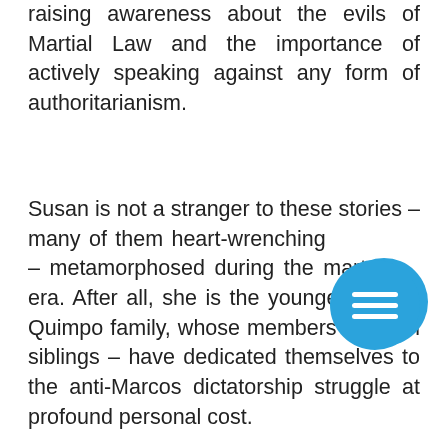raising awareness about the evils of Martial Law and the importance of actively speaking against any form of authoritarianism.

Susan is not a stranger to these stories – many of them heart-wrenching – metamorphosed during the martial law era. After all, she is the youngest of the Quimpo family, whose members – seven siblings – have dedicated themselves to the anti-Marcos dictatorship struggle at profound personal cost.

Her family story is documented in Subversive Lives, a book that chronicles the anti-Marcos crusade of the Quimpo family. Written by Susan
[Figure (other): Blue circular menu button with three horizontal white lines (hamburger icon)]